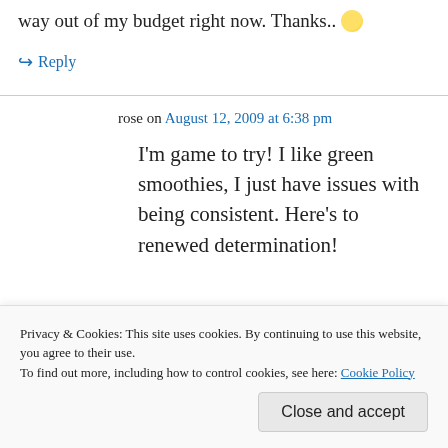way out of my budget right now. Thanks.. 😊
↪ Reply
rose on August 12, 2009 at 6:38 pm
I'm game to try! I like green smoothies, I just have issues with being consistent. Here's to renewed determination!
Privacy & Cookies: This site uses cookies. By continuing to use this website, you agree to their use.
To find out more, including how to control cookies, see here: Cookie Policy